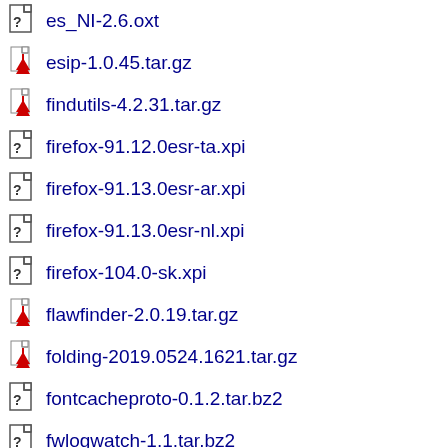es_NI-2.6.oxt
esip-1.0.45.tar.gz
findutils-4.2.31.tar.gz
firefox-91.12.0esr-ta.xpi
firefox-91.13.0esr-ar.xpi
firefox-91.13.0esr-nl.xpi
firefox-104.0-sk.xpi
flawfinder-2.0.19.tar.gz
folding-2019.0524.1621.tar.gz
fontcacheproto-0.1.2.tar.bz2
fwlogwatch-1.1.tar.bz2
gallery-dl-1.21.2.tar.gz